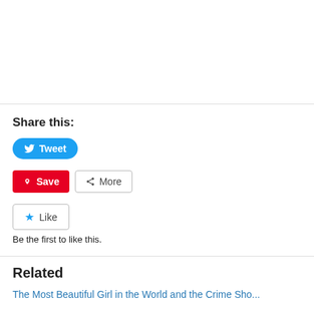Share this:
Tweet
Save
More
Like
Be the first to like this.
Related
The Most Beautiful Girl in the World and the Crime Sho...